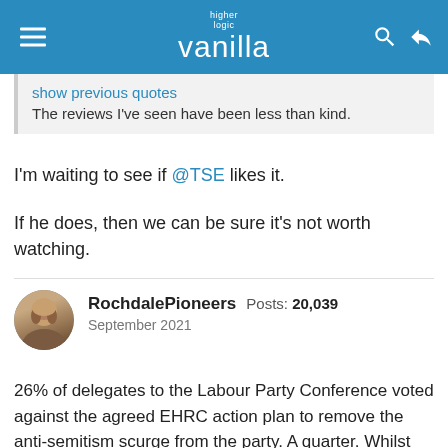higher logic vanilla
show previous quotes
The reviews I've seen have been less than kind.
I'm waiting to see if @TSE likes it.
If he does, then we can be sure it's not worth watching.
RochdalePioneers  Posts: 20,039  September 2021
26% of delegates to the Labour Party Conference voted against the agreed EHRC action plan to remove the anti-semitism scurge from the party. A quarter. Whilst the hard left screwed up and screwed up badly, there are still a significant number of them. Delegates chosen by their local parties as their best.